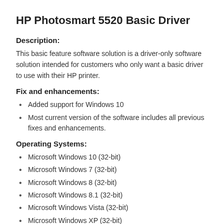HP Photosmart 5520 Basic Driver
Description:
This basic feature software solution is a driver-only software solution intended for customers who only want a basic driver to use with their HP printer.
Fix and enhancements:
Added support for Windows 10
Most current version of the software includes all previous fixes and enhancements.
Operating Systems:
Microsoft Windows 10 (32-bit)
Microsoft Windows 7 (32-bit)
Microsoft Windows 8 (32-bit)
Microsoft Windows 8.1 (32-bit)
Microsoft Windows Vista (32-bit)
Microsoft Windows XP (32-bit)